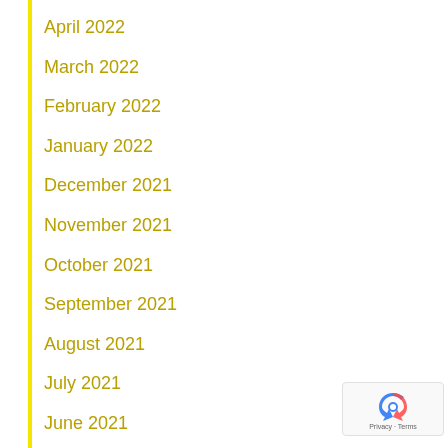April 2022
March 2022
February 2022
January 2022
December 2021
November 2021
October 2021
September 2021
August 2021
July 2021
June 2021
May 2021
[Figure (logo): reCAPTCHA badge with Privacy and Terms text]